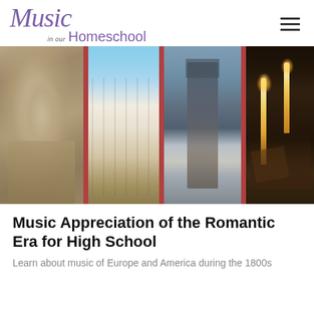Music in our Homeschool
[Figure (photo): Four-panel collage hero image: panel 1 shows a Beethoven portrait engraving, panel 2 shows a European baroque building exterior, panel 3 shows a statue on a pedestal in front of a yellow building, panel 4 shows candles with a quill pen and sheet music in darkness]
Music Appreciation of the Romantic Era for High School
Learn about music of Europe and America during the 1800s